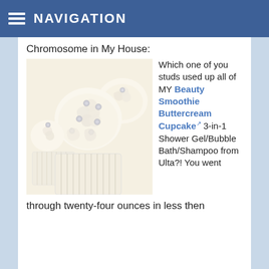NAVIGATION
Chromosome in My House:
[Figure (photo): Close-up photo of white frosted cupcakes decorated with silver pearl beads, in white paper cupcake liners, with swirled buttercream frosting in a rose pattern.]
Which one of you studs used up all of MY Beauty Smoothie Buttercream Cupcake 3-in-1 Shower Gel/Bubble Bath/Shampoo from Ulta?! You went through twenty-four ounces in less then